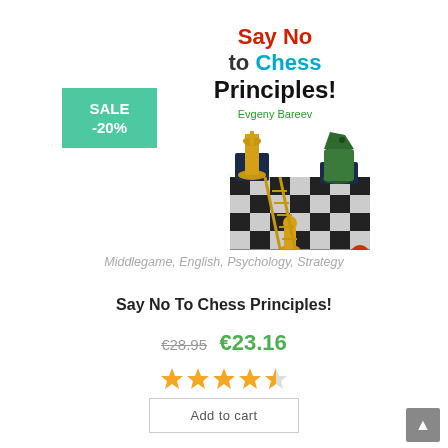[Figure (illustration): Book cover for 'Say No to Chess Principles!' by Evgeny Bareev, showing chess pieces (king and knight) on a chessboard with a ladder. Title text in red, green, and black. Author name in green. Publisher logo at bottom right.]
SALE -20%
Middlegame, English, Psychology, Strategy
Say No To Chess Principles!
€28.95  €23.16
[Figure (other): 4.5 out of 5 star rating display]
Add to cart